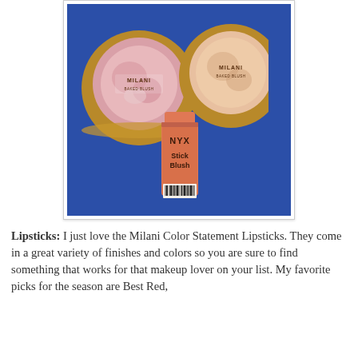[Figure (photo): Photo of three blush products on a blue background: two Milani Baked Blush compacts (one pink, one peach) and one NYX Stick Blush in coral/orange color]
Lipsticks: I just love the Milani Color Statement Lipsticks. They come in a great variety of finishes and colors so you are sure to find something that works for that makeup lover on your list. My favorite picks for the season are Best Red,